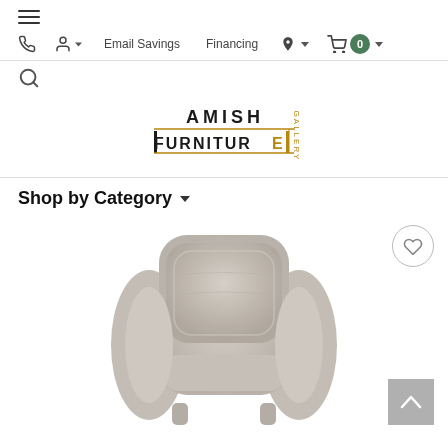≡ (hamburger menu icon)
Phone icon | User icon ▾ | Email Savings | Financing | Location ▾ | Cart 0 ▾
Search (magnifying glass icon)
[Figure (logo): Amish Furniture Gallery logo — text AMISH FURNITURE GALLERY with decorative architectural line elements in black and gold/brown]
Shop by Category ▾
[Figure (photo): Top-down view of a grey upholstered recliner chair with rounded back cushion and armrests, beige/light grey fabric, shown from above on a white background. A circular wishlist (heart) button is visible top-right. A grey scroll-to-top arrow button is visible bottom-right.]